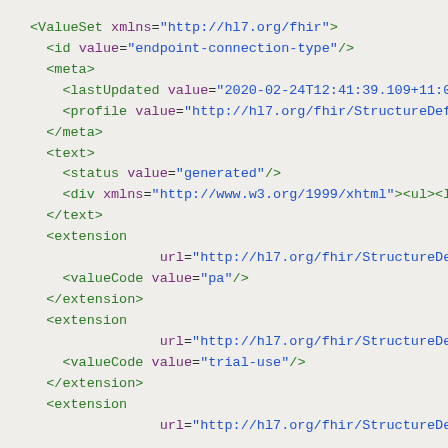XML/FHIR code snippet showing a ValueSet definition with id, meta, text, and extension elements